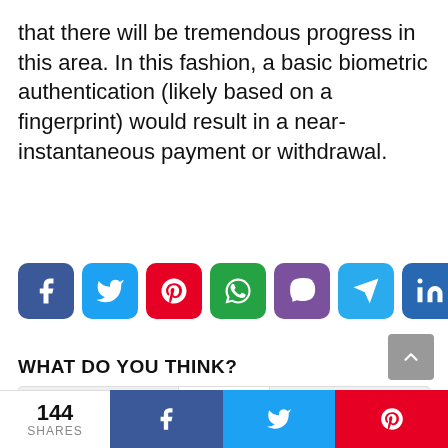that there will be tremendous progress in this area. In this fashion, a basic biometric authentication (likely based on a fingerprint) would result in a near-instantaneous payment or withdrawal.
[Figure (infographic): Row of 8 social sharing buttons: Facebook (dark blue), Twitter (light blue), Pinterest (red), WhatsApp (green), Viber (purple), Telegram (light blue), LinkedIn (blue), Tumblr (dark blue-grey)]
WHAT DO YOU THINK?
[Figure (infographic): Voting widget with upvote arrow on left, 600 Points in center, downvote arrow on right]
[Figure (infographic): Bottom sharing bar: 144 SHARES count, Facebook share button, Twitter share button, Pinterest share button]